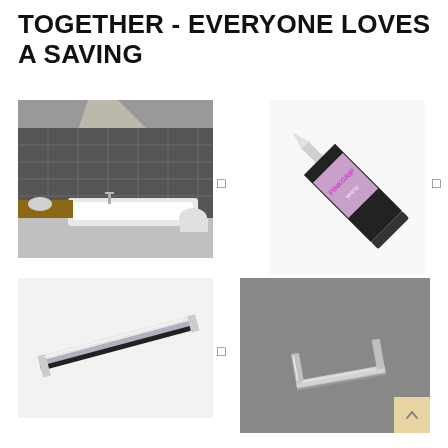TOGETHER - EVERYONE LOVES A SAVING
[Figure (photo): Modern bathroom interior with dark tile walls, white bathtub, sink and toilet]
[Figure (photo): Pinkgrip White adhesive sealant tube in black and pink packaging]
[Figure (photo): Chrome squeegee / tile trim strip tool]
[Figure (photo): Transparent plastic channel clip on grey background]